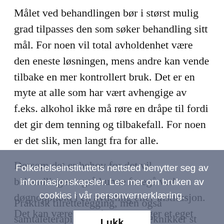Målet ved behandlingen bør i størst mulig grad tilpasses den som søker behandling sitt mål. For noen vil total avholdenhet være den eneste løsningen, mens andre kan vende tilbake en mer kontrollert bruk. Det er en myte at alle som har vært avhengige av f.eks. alkohol ikke må røre en dråpe til fordi det gir dem tenning og tilbakefall. For noen er det slik, men langt fra for alle.
Dersom det er behov for det vil behandlingen også kunne foregå ved døgnopphold i en avdeling eller institusjon. Det kan være at pasienten trenger et eget oppl... b...
Folkehelseinstituttets nettsted benytter seg av informasjonskapsler. Les mer om bruken av cookies i vår personvernerklæring.
Lukk
Praktisk tilrettelegging, men også samtaleterapi etter spesifikke teknikker st... behandlingen av personer med rusmiddellidelser. Noen, men slett ikke alle...